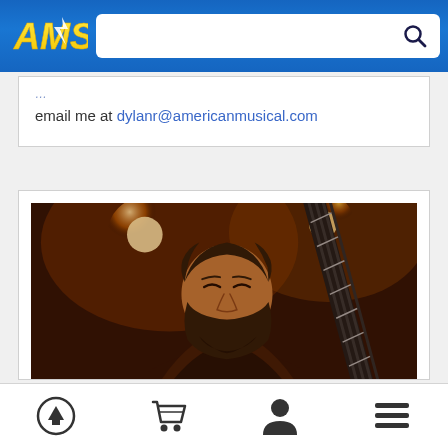[Figure (logo): AMS (American Musical Supply) logo - yellow/white stylized letters on blue background]
email me at dylanr@americanmusical.com
[Figure (photo): A bearded man playing bass guitar on stage under warm amber/orange stage lighting, eyes closed, singing or expressing emotion]
Bottom navigation bar with: scroll-to-top icon, shopping cart icon, user account icon, hamburger menu icon